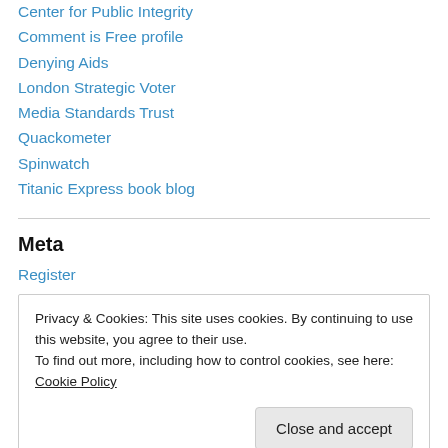Center for Public Integrity
Comment is Free profile
Denying Aids
London Strategic Voter
Media Standards Trust
Quackometer
Spinwatch
Titanic Express book blog
Meta
Register
Privacy & Cookies: This site uses cookies. By continuing to use this website, you agree to their use. To find out more, including how to control cookies, see here: Cookie Policy
Close and accept